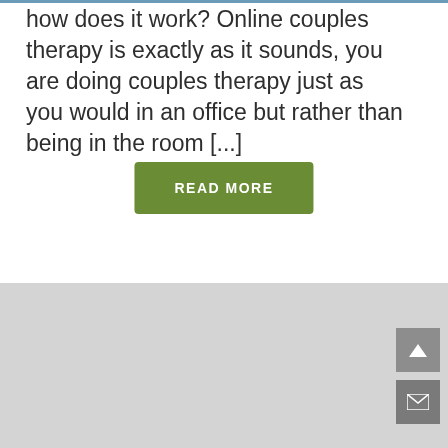how does it work? Online couples therapy is exactly as it sounds, you are doing couples therapy just as you would in an office but rather than being in the room [...]
READ MORE
[Figure (map): A grey map placeholder area with a scroll-up button and an email/envelope button on the right side.]